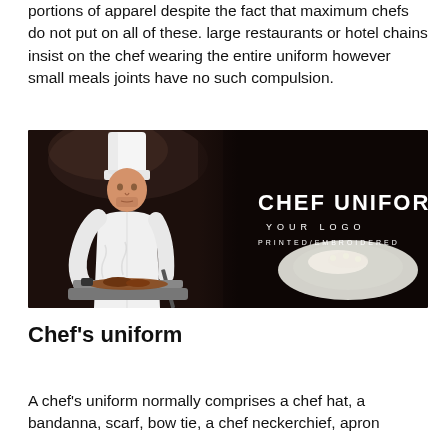portions of apparel despite the fact that maximum chefs do not put on all of these. large restaurants or hotel chains insist on the chef wearing the entire uniform however small meals joints have no such compulsion.
[Figure (photo): A chef in white uniform and tall chef hat cooking food in a pan, with text overlay reading 'CHEF UNIFORM YOUR LOGO PRINTED/EMBROIDERED' on a dark background with a plate of food visible on the right side.]
Chef's uniform
A chef's uniform normally comprises a chef hat, a bandanna, scarf, bow tie, a chef neckerchief, apron